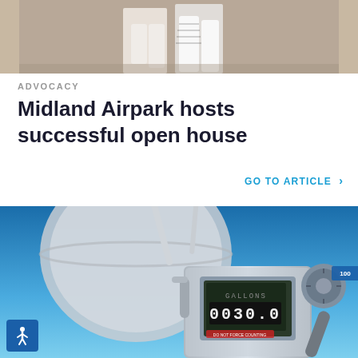[Figure (photo): Partial photo at top of page showing two people from waist down, wearing white and patterned clothing, on a light brown background]
ADVOCACY
Midland Airpark hosts successful open house
GO TO ARTICLE >
[Figure (photo): Close-up photo of an aviation fuel pump/meter with a digital gallon counter reading 0030.0, against a bright blue sky background with fuel equipment visible]